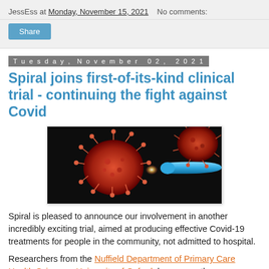JessEss at Monday, November 15, 2021   No comments:
Share
Tuesday, November 02, 2021
Spiral joins first-of-its-kind clinical trial - continuing the fight against Covid
[Figure (photo): Artistic rendering of a Covid-19 virus particle (red, spiky) being struck by a blue capsule/pill on a dark background.]
Spiral is pleased to announce our involvement in another incredibly exciting trial, aimed at producing effective Covid-19 treatments for people in the community, not admitted to hospital.
Researchers from the Nuffield Department of Primary Care Health Sciences, University of Oxford, have recently